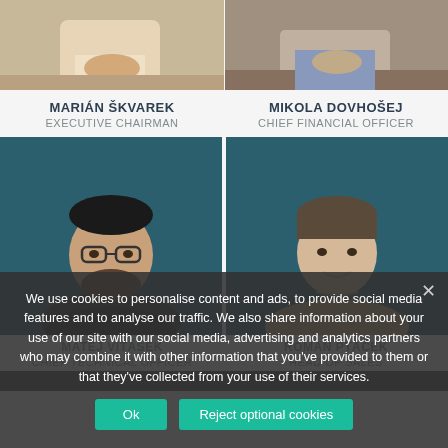[Figure (photo): Two cropped portrait photos at top: left shows person with hands clasped on desk wearing white shirt; right shows person in checkered shirt with hands on desk]
MARIÁN ŠKVAREK
EXECUTIVE CHAIRMAN
MIKOLA DOVHOŠEJ
CHIEF FINANCIAL OFFICER
[Figure (photo): Two portrait photos side by side against teal/dark background: left is man with glasses and dark beard in dark shirt; right is younger man with short hair in beige/tan shirt]
MATEJ VITÁSEK
CHIEF TECHNICAL OFFICER
ROMAN PTÁČEK
HEAD OF SALES
We use cookies to personalise content and ads, to provide social media features and to analyse our traffic. We also share information about your use of our site with our social media, advertising and analytics partners who may combine it with other information that you've provided to them or that they've collected from your use of their services.